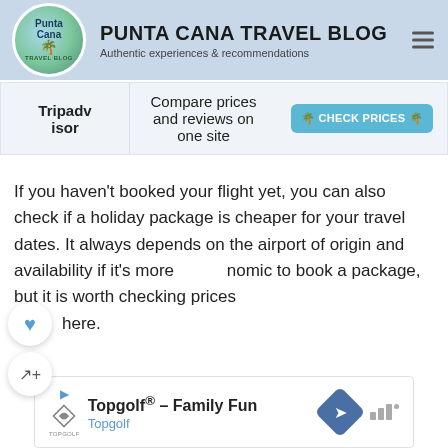PUNTA CANA TRAVEL BLOG - Authentic experiences & recommendations
| Platform | Description | Action |
| --- | --- | --- |
| Tripadvisor | Compare prices and reviews on one site | CHECK PRICES |
If you haven't booked your flight yet, you can also check if a holiday package is cheaper for your travel dates. It always depends on the airport of origin and availability if it's more economic to book a package, but it is worth checking prices here.
ADVERTISEMENT
[Figure (screenshot): What's Next teaser: 13 Insider tips on how to fi... with circular beach thumbnail]
[Figure (screenshot): Advertisement banner for Topgolf® - Family Fun / Topgolf with logo, navigation icon, and signal bars]